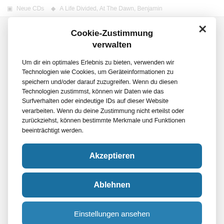Neue CDs   A Life Divided, At The Dawn, Benjamin
Cookie-Zustimmung verwalten
Um dir ein optimales Erlebnis zu bieten, verwenden wir Technologien wie Cookies, um Geräteinformationen zu speichern und/oder darauf zuzugreifen. Wenn du diesen Technologien zustimmst, können wir Daten wie das Surfverhalten oder eindeutige IDs auf dieser Website verarbeiten. Wenn du deine Zustimmung nicht erteilst oder zurückziehst, können bestimmte Merkmale und Funktionen beeinträchtigt werden.
Akzeptieren
Ablehnen
Einstellungen ansehen
Datenschutzerklärung   Impressum